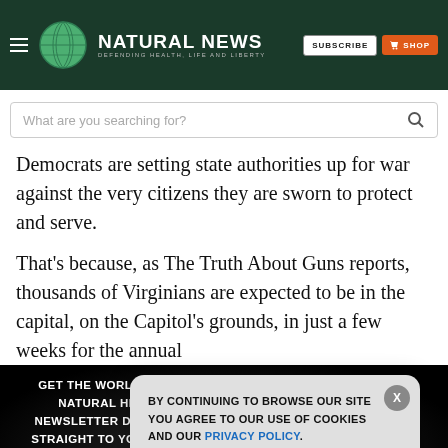Natural News — DEFENDING HEALTH, LIFE AND LIBERTY
What are you searching for?
Democrats are setting state authorities up for war against the very citizens they are sworn to protect and serve.
That's because, as The Truth About Guns reports, thousands of Virginians are expected to be in the capital, on the Capitol's grounds, in just a few weeks for the annual
GET THE WORLD'S BEST NATURAL HEALTH NEWSLETTER DELIVERED STRAIGHT TO YOUR INBOX
BY CONTINUING TO BROWSE OUR SITE YOU AGREE TO OUR USE OF COOKIES AND OUR PRIVACY POLICY.
Agree and close